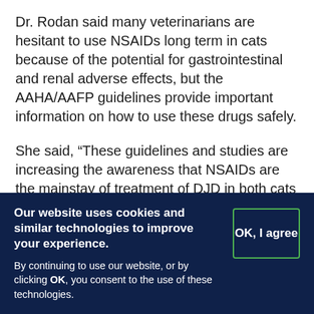Dr. Rodan said many veterinarians are hesitant to use NSAIDs long term in cats because of the potential for gastrointestinal and renal adverse effects, but the AAHA/AAFP guidelines provide important information on how to use these drugs safely.
She said, “These guidelines and studies are increasing the awareness that NSAIDs are the mainstay of treatment of DJD in both cats and dogs.”
Preoperatively, the guidelines suggest using alpha-2 adrenoceptor agonists such as dexmedetomidine as effective analgesic options.
Our website uses cookies and similar technologies to improve your experience. By continuing to use our website, or by clicking OK, you consent to the use of these technologies.